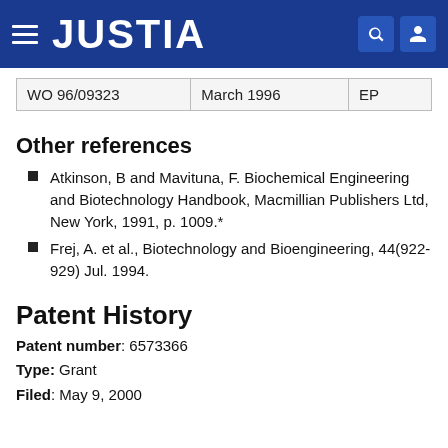JUSTIA
| WO 96/09323 | March 1996 | EP |
| --- | --- | --- |
Other references
Atkinson, B and Mavituna, F. Biochemical Engineering and Biotechnology Handbook, Macmillian Publishers Ltd, New York, 1991, p. 1009.*
Frej, A. et al., Biotechnology and Bioengineering, 44(922-929) Jul. 1994.
Patent History
Patent number: 6573366
Type: Grant
Filed: May 9, 2000